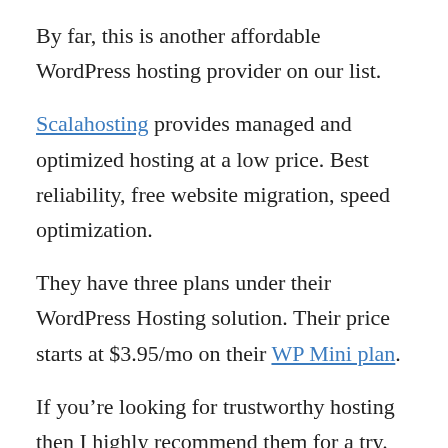By far, this is another affordable WordPress hosting provider on our list.
Scalahosting provides managed and optimized hosting at a low price. Best reliability, free website migration, speed optimization.
They have three plans under their WordPress Hosting solution. Their price starts at $3.95/mo on their WP Mini plan.
If you’re looking for trustworthy hosting then I highly recommend them for a try. Believe me, you won’t get wrong with their services.